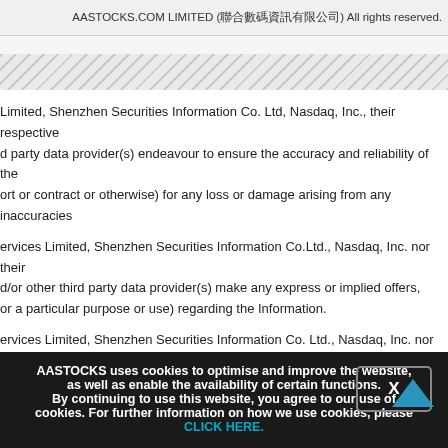AASTOCKS.COM LIMITED (聯合數碼資訊有限公司) All rights reserved.
Limited, Shenzhen Securities Information Co. Ltd, Nasdaq, Inc., their respective d party data provider(s) endeavour to ensure the accuracy and reliability of the ort or contract or otherwise) for any loss or damage arising from any inaccuracies
ervices Limited, Shenzhen Securities Information Co.Ltd., Nasdaq, Inc. nor their d/or other third party data provider(s) make any express or implied offers, or a particular purpose or use) regarding the Information.
ervices Limited, Shenzhen Securities Information Co. Ltd., Nasdaq, Inc. nor their d/or other third party data provider(s) will be liable to any Subscriber or any other any damages (whether direct or indirect, consequential, punitive, (incidentally)
AASTOCKS uses cookies to optimise and improve the website, as well as enable the availability of certain functions. By continuing to use this website, you agree to our use of cookies. For further information on how we use cookies, please CLICK HERE.